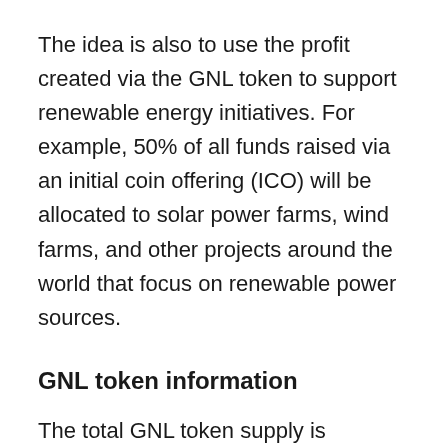The idea is also to use the profit created via the GNL token to support renewable energy initiatives. For example, 50% of all funds raised via an initial coin offering (ICO) will be allocated to solar power farms, wind farms, and other projects around the world that focus on renewable power sources.
GNL token information
The total GNL token supply is 500,000,000 GNL, with 50,000,000 to be burned.
Here are more details about the token allocation.
50% of GNL tokens will be sold via an ICO